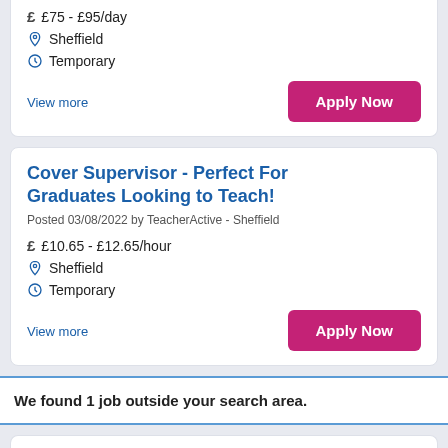£75 - £95/day
Sheffield
Temporary
View more
Apply Now
Cover Supervisor - Perfect For Graduates Looking to Teach!
Posted 03/08/2022 by TeacherActive - Sheffield
£10.65 - £12.65/hour
Sheffield
Temporary
View more
Apply Now
We found 1 job outside your search area.